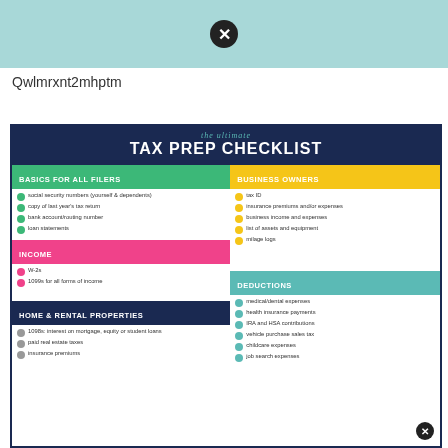Qwlmrxnt2mhptm
[Figure (infographic): The Ultimate TAX PREP CHECKLIST infographic with sections: Basics For All Filers (green), Income (pink), Home & Rental Properties (navy), Business Owners (yellow), Deductions (teal). Lists items under each section with colored circle bullets.]